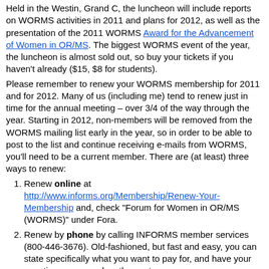Held in the Westin, Grand C, the luncheon will include reports on WORMS activities in 2011 and plans for 2012, as well as the presentation of the 2011 WORMS Award for the Advancement of Women in OR/MS. The biggest WORMS event of the year, the luncheon is almost sold out, so buy your tickets if you haven't already ($15, $8 for students).
Please remember to renew your WORMS membership for 2011 and for 2012. Many of us (including me) tend to renew just in time for the annual meeting – over 3/4 of the way through the year. Starting in 2012, non-members will be removed from the WORMS mailing list early in the year, so in order to be able to post to the list and continue receiving e-mails from WORMS, you'll need to be a current member. There are (at least) three ways to renew:
Renew online at http://www.informs.org/Membership/Renew-Your-Membership and, check "Forum for Women in OR/MS (WORMS)" under Fora.
Renew by phone by calling INFORMS member services (800-446-3676). Old-fashioned, but fast and easy, you can state specifically what you want to pay for, and have your questions answered on the spot.
Renew by mail using the form you will receive by mail or by downloading the form and following the instructions at http://www.informs.org/Community/WORMS/Membership.